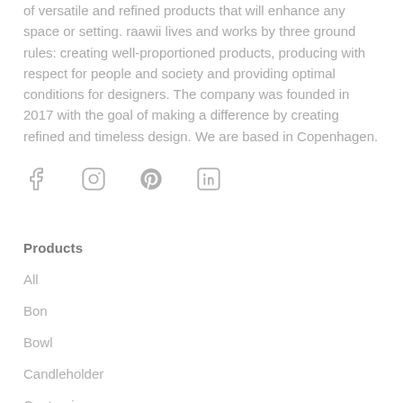of versatile and refined products that will enhance any space or setting. raawii lives and works by three ground rules: creating well-proportioned products, producing with respect for people and society and providing optimal conditions for designers. The company was founded in 2017 with the goal of making a difference by creating refined and timeless design. We are based in Copenhagen.
[Figure (other): Social media icons: Facebook, Instagram, Pinterest, LinkedIn]
Products
All
Bon
Bowl
Candleholder
Centrepiece